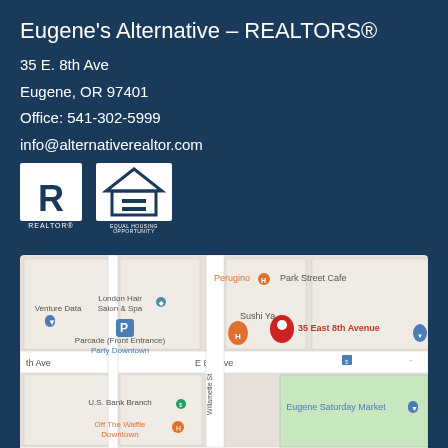Eugene's Alternative – REALTORS®
35 E. 8th Ave
Eugene, OR 97401
Office: 541-302-5999
info@alternativerealtor.com
[Figure (logo): REALTOR and Equal Housing Opportunity logos]
[Figure (map): Google Map showing 35 East 8th Avenue, Eugene, OR with surrounding businesses including Park Street Cafe, London Hair Salon & Spa, Sushi Ya, Parcade, U.S. Bank Branch, Off The Waffle Downtown, Eugene Saturday Market]
See on Map